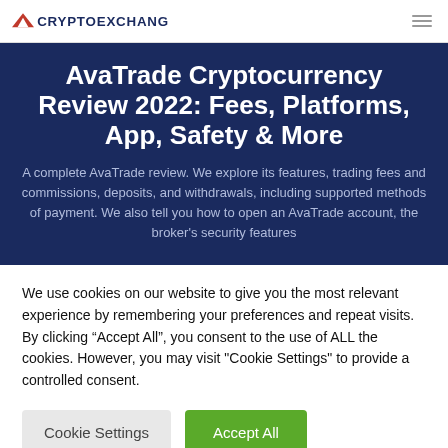CRYPTOEXCHANGES
AvaTrade Cryptocurrency Review 2022: Fees, Platforms, App, Safety & More
A complete AvaTrade review. We explore its features, trading fees and commissions, deposits, and withdrawals, including supported methods of payment. We also tell you how to open an AvaTrade account, the broker's security features
We use cookies on our website to give you the most relevant experience by remembering your preferences and repeat visits. By clicking “Accept All”, you consent to the use of ALL the cookies. However, you may visit "Cookie Settings" to provide a controlled consent.